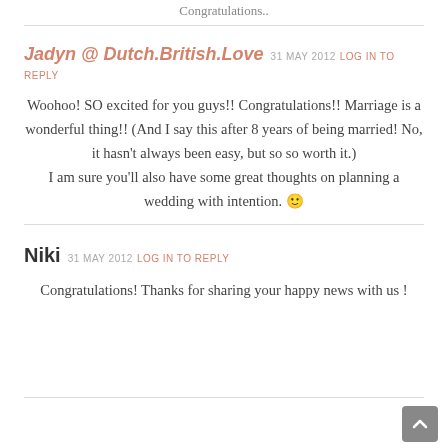Congratulations..
Jadyn @ Dutch.British.Love  31 MAY 2012  LOG IN TO REPLY
Woohoo! SO excited for you guys!! Congratulations!! Marriage is a wonderful thing!! (And I say this after 8 years of being married! No, it hasn't always been easy, but so so worth it.) I am sure you'll also have some great thoughts on planning a wedding with intention. 🙂
Niki  31 MAY 2012  LOG IN TO REPLY
Congratulations! Thanks for sharing your happy news with us !